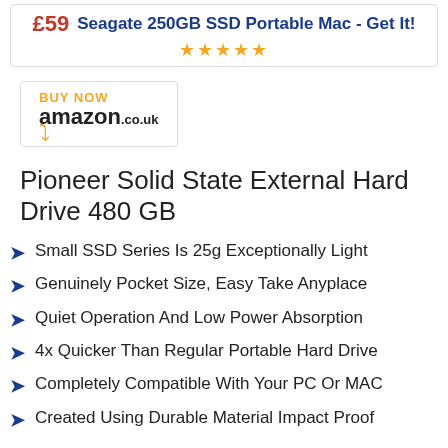£59  Seagate 250GB SSD Portable Mac - Get It!  ★★★★★
[Figure (logo): Amazon.co.uk BUY NOW button with Amazon logo and smile]
Pioneer Solid State External Hard Drive 480 GB
Small SSD Series Is 25g Exceptionally Light
Genuinely Pocket Size, Easy Take Anyplace
Quiet Operation And Low Power Absorption
4x Quicker Than Regular Portable Hard Drive
Completely Compatible With Your PC Or MAC
Created Using Durable Material Impact Proof